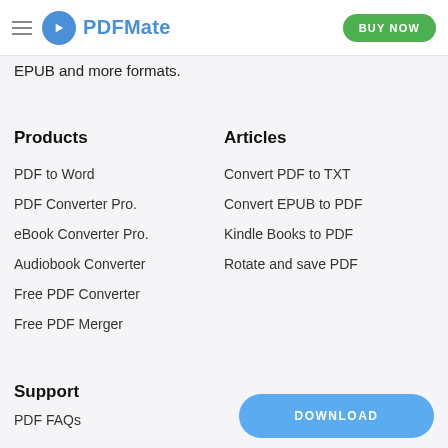PDFMate | BUY NOW
EPUB and more formats.
Products
PDF to Word
PDF Converter Pro.
eBook Converter Pro.
Audiobook Converter
Free PDF Converter
Free PDF Merger
Articles
Convert PDF to TXT
Convert EPUB to PDF
Kindle Books to PDF
Rotate and save PDF
Support
PDF FAQs